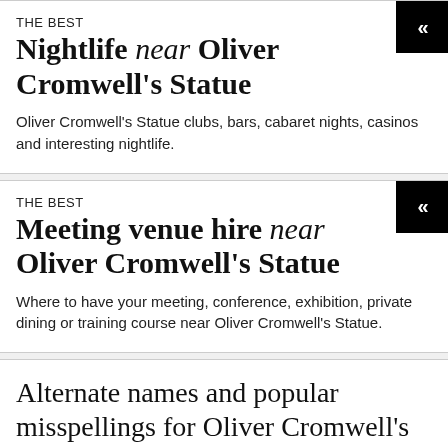THE BEST
Nightlife near Oliver Cromwell's Statue
Oliver Cromwell's Statue clubs, bars, cabaret nights, casinos and interesting nightlife.
THE BEST
Meeting venue hire near Oliver Cromwell's Statue
Where to have your meeting, conference, exhibition, private dining or training course near Oliver Cromwell's Statue.
Alternate names and popular misspellings for Oliver Cromwell's Statue
Oliver Cromwell's Statue, Oliver Cromwell's Statue, Oliver